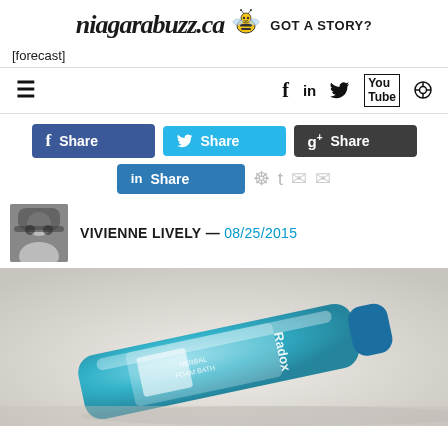[Figure (logo): niagarabuzz.ca logo with bee icon and 'GOT A STORY?' text]
[forecast]
[Figure (screenshot): Navigation bar with hamburger menu icon and social media icons: f (Facebook), in (LinkedIn), Twitter bird, YouTube, Search]
[Figure (screenshot): Social share buttons: Facebook Share (blue), Twitter Share (light blue), Google+ Share (dark), LinkedIn Share (teal), and icon buttons for Pinterest, Tumblr, Reddit, Email]
VIVIENNE LIVELY — 08/25/2015
[Figure (photo): A blue Radox Herbal Foam Bath bottle lying on its side against a light background]